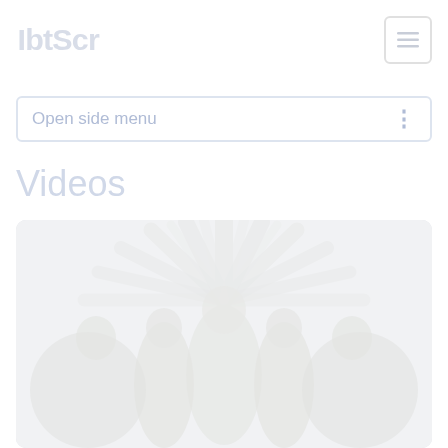IbtScr
Open side menu
Videos
[Figure (photo): A faded/low-contrast photo of a music band with four members. The central figure wears a large feathered headdress. The image is very light, nearly washed out in white.]